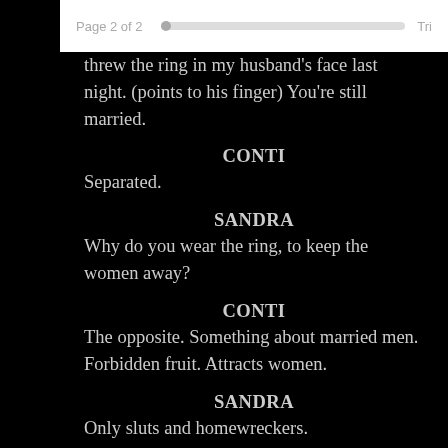Page 2 of 2
threw the ring in my husband's face last night. (points to his finger) You're still married.
CONTI
Separated.
SANDRA
Why do you wear the ring, to keep the women away?
CONTI
The opposite. Something about married men. Forbidden fruit. Attracts women.
SANDRA
Only sluts and homewreckers.